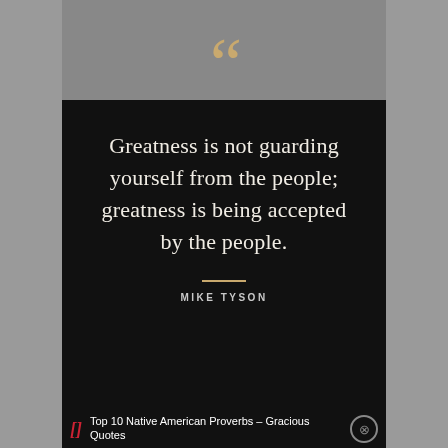[Figure (illustration): Large decorative golden quotation marks on a grey background bar at top]
Greatness is not guarding yourself from the people; greatness is being accepted by the people.
MIKE TYSON
Top 10 Native American Proverbs – Gracious Quotes